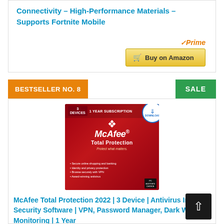Connectivity – High-Performance Materials – Supports Fortnite Mobile
[Figure (illustration): Amazon Prime logo with orange checkmark and italic Prime text, and a yellow 'Buy on Amazon' button with cart icon]
BESTSELLER NO. 8
SALE
[Figure (photo): McAfee Total Protection 2022 product box art - red background with McAfee shield logo, '3 Devices 1 Year Subscription Download' badge, features list including secure online shopping, identity protection, VPN, antivirus. PC Editor's Choice badge.]
McAfee Total Protection 2022 | 3 Device | Antivirus Internet Security Software | VPN, Password Manager, Dark Web Monitoring | 1 Year